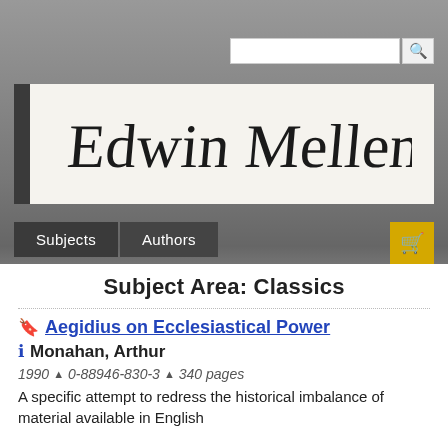[Figure (logo): Edwin Mellen Press cursive signature logo on cream background]
Subjects  Authors
Subject Area: Classics
Aegidius on Ecclesiastical Power
Monahan, Arthur
1990  0-88946-830-3  340 pages
A specific attempt to redress the historical imbalance of material available in English